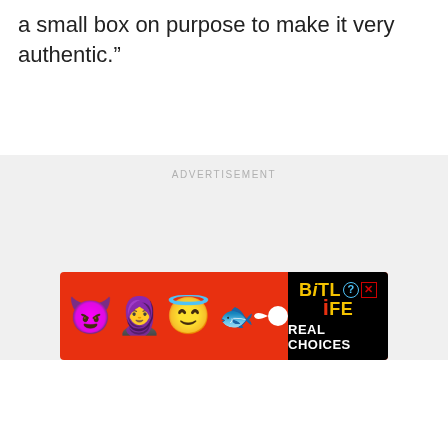a small box on purpose to make it very authentic.”
[Figure (other): Advertisement placeholder area with label ADVERTISEMENT, and a BitLife banner ad at the bottom showing emoji characters (devil, woman, angel) and a sperm icon, with 'BitLife REAL CHOICES' branding on a red and black background.]